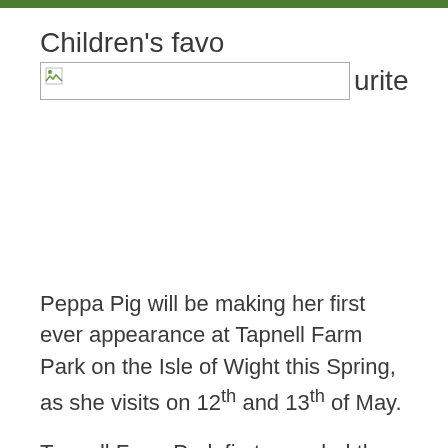Children's favourite
[Figure (photo): Broken/missing image placeholder for a photo]
Peppa Pig will be making her first ever appearance at Tapnell Farm Park on the Isle of Wight this Spring, as she visits on 12th and 13th of May.
Tapnell Farm Park first revealed the news